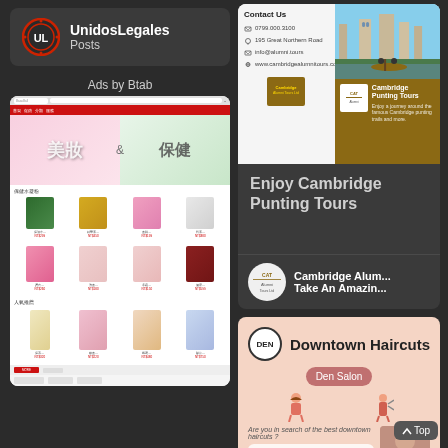[Figure (screenshot): UnidosLegales card with logo showing UL initials in red circle, brand name and Posts label]
Ads by Btab
[Figure (screenshot): Screenshot of Asian beauty and health products website with Chinese text showing cosmetics and health products]
[Figure (screenshot): Cambridge Alumni Tours Ltd contact card with Cambridge punting tour photo and brown branded box showing Cambridge Punting Tours]
Enjoy Cambridge Punting Tours
Cambridge Alum... Take An Amazin...
[Figure (screenshot): Downtown Haircuts ad for Den Salon with salmon/peach background, logo circle, Den Salon button, illustrated figures, tagline and description text]
Top